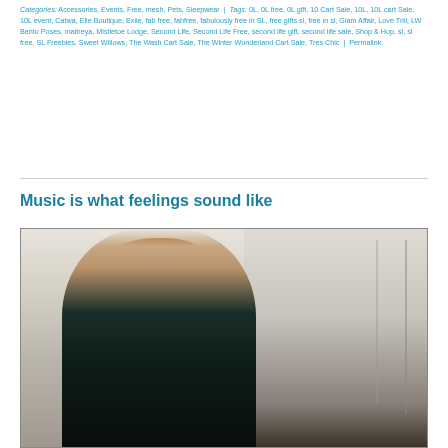Categories: Accessories, Events, Free, mesh, Pets, Sleepwear | Tags: 0L, 0L free, 0L gift, 10 Cart Sale, 10L, 10L cart Sale, 10L event, Catwa, Elle Boutique, Exile, fab free, fabfree, fabulously free in SL, free gifts sl, free in sl, Glam Affair, Love Trill, LW Bento Poses, maitreya, Mistletoe Lodge, Second Life, Second Life Free, second life gift, second life sale, Shop & Hop, sl, sl free, SL Freebies, Sweet Willows, The Wash Cart Sale, The Winter Wonderland Cart Sale, Tres Chic | Permalink.
Music is what feelings sound like
[Figure (photo): A Second Life avatar — a woman with long braided auburn/red hair wearing a dark teal off-shoulder flowy top, standing outdoors in a winter scene with bare trees and what appears to be swing set structures in the background.]